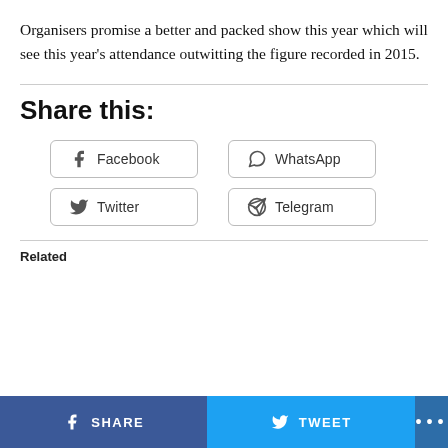Organisers promise a better and packed show this year which will see this year's attendance outwitting the figure recorded in 2015.
Share this:
Facebook | WhatsApp | Twitter | Telegram
Related
SHARE  TWEET  ...